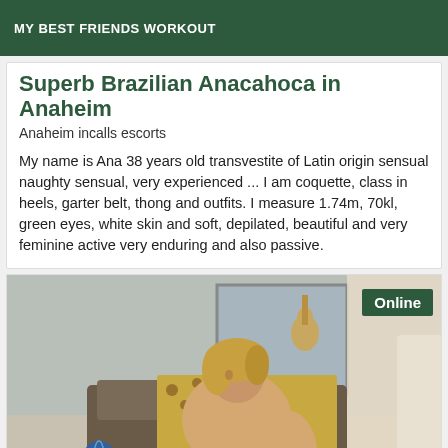MY BEST FRIENDS WORKOUT
Superb Brazilian Anacahoca in Anaheim
Anaheim incalls escorts
My name is Ana 38 years old transvestite of Latin origin sensual naughty sensual, very experienced ... I am coquette, class in heels, garter belt, thong and outfits. I measure 1.74m, 70kl, green eyes, white skin and soft, depilated, beautiful and very feminine active very enduring and also passive.
[Figure (photo): Indoor photo of a person with blonde hair, sitting/reclining, wearing a patterned outfit, with a guitar visible in the background and a blue globe on a table. An 'Online' badge appears in the top-right corner of the image.]